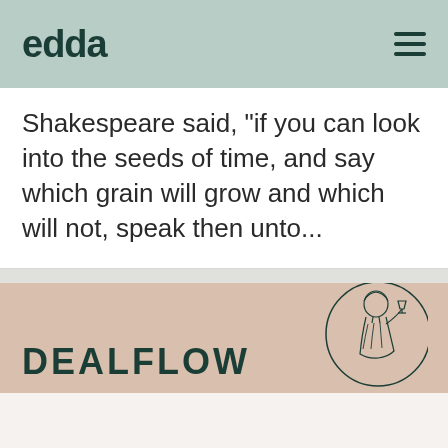edda
Shakespeare said, "If you can look into the seeds of time, and say which grain will grow and which will not, speak then unto...
DEALFLOW
[Figure (illustration): Circular line-art illustration of a classical figure (Greek/Roman style) holding a goblet, partially visible at the right side of the dealflow banner]